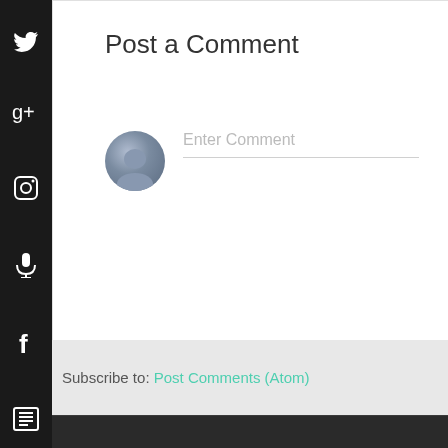0 comments:
Post a Comment
Enter Comment
Subscribe to: Post Comments (Atom)